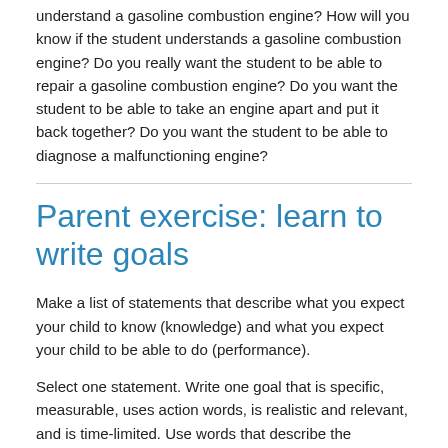understand a gasoline combustion engine? How will you know if the student understands a gasoline combustion engine? Do you really want the student to be able to repair a gasoline combustion engine? Do you want the student to be able to take an engine apart and put it back together? Do you want the student to be able to diagnose a malfunctioning engine?
Parent exercise: learn to write goals
Make a list of statements that describe what you expect your child to know (knowledge) and what you expect your child to be able to do (performance).
Select one statement. Write one goal that is specific, measurable, uses action words, is realistic and relevant, and is time-limited. Use words that describe the intended outcome. For example, "Mary will be able to . . ."